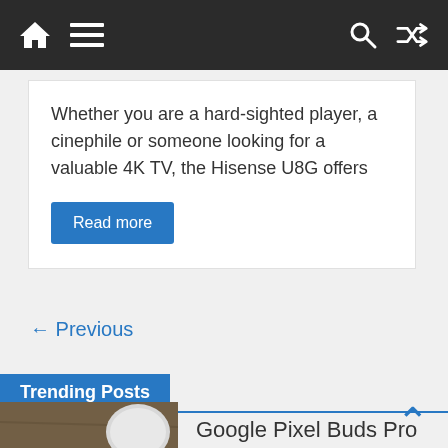Navigation bar with home, menu, search, and shuffle icons
Whether you are a hard-sighted player, a cinephile or someone looking for a valuable 4K TV, the Hisense U8G offers
Read more
← Previous
Trending Posts
[Figure (photo): Photo of wireless earbuds (dark colored) on a wooden surface]
Google Pixel Buds Pro Review